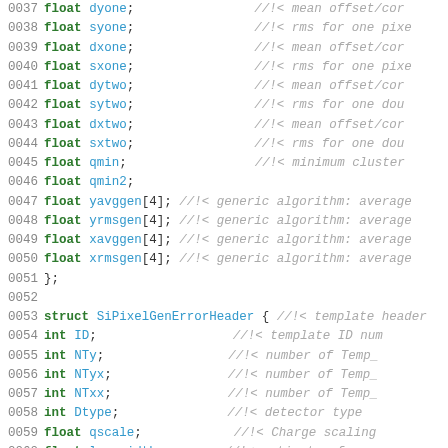Code listing showing C++ struct member declarations with line numbers 0037-0066, including float and int type members with Doxygen-style comments
0037   float dyone;   //!< mean offset/cor
0038   float syone;   //!< rms for one pixe
0039   float dxone;   //!< mean offset/cor
0040   float sxone;   //!< rms for one pixe
0041   float dytwo;   //!< mean offset/cor
0042   float sytwo;   //!< rms for one dou
0043   float dxtwo;   //!< mean offset/cor
0044   float sxtwo;   //!< rms for one dou
0045   float qmin;    //!< minimum cluster
0046   float qmin2;
0047   float yavggen[4];  //!< generic algorithm: average
0048   float yrmsgen[4];  //!< generic algorithm: average
0049   float xavggen[4];  //!< generic algorithm: average
0050   float xrmsgen[4];  //!< generic algorithm: average
0051 };
0052
0053 struct SiPixelGenErrorHeader {  //!< template header
0054   int ID;    //!< template ID num
0055   int NTy;   //!< number of Temp_
0056   int NTyx;  //!< number of Temp_
0057   int NTxx;  //!< number of Temp_
0058   int Dtype; //!< detector type
0059   float qscale;     //!< Charge scaling
0060   float lorywidth;  //!< estimate of y-
0061   float lorxwidth;  //!< estimate of x-
0062   float lorybias;   //!< estimate of y-
0063   float lorxbias;   //!< estimate of x-
0064   float Vbias;       //!< detector bias
0065   float temperature; //!< detector tempe
0066   float fluence;     //!< radiation flue